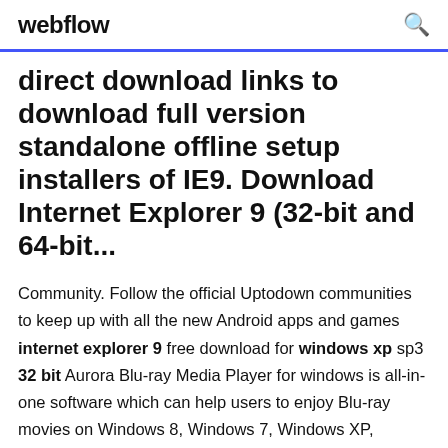webflow
direct download links to download full version standalone offline setup installers of IE9. Download Internet Explorer 9 (32-bit and 64-bit...
Community. Follow the official Uptodown communities to keep up with all the new Android apps and games internet explorer 9 free download for windows xp sp3 32 bit Aurora Blu-ray Media Player for windows is all-in-one software which can help users to enjoy Blu-ray movies on Windows 8, Windows 7, Windows XP, Windows Vista, Windows 98 without any other third party codec. Internet